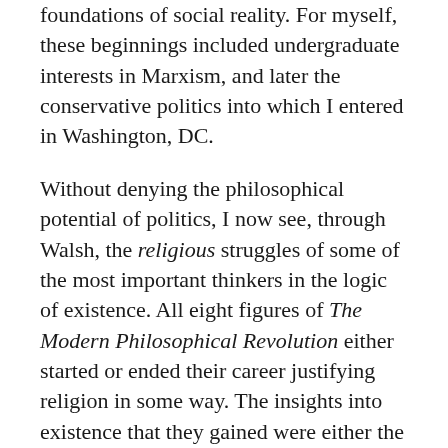foundations of social reality. For myself, these beginnings included undergraduate interests in Marxism, and later the conservative politics into which I entered in Washington, DC.
Without denying the philosophical potential of politics, I now see, through Walsh, the religious struggles of some of the most important thinkers in the logic of existence. All eight figures of The Modern Philosophical Revolution either started or ended their career justifying religion in some way. The insights into existence that they gained were either the result of religious practice from which their minds never fully recovered, or else it led them to a view of Canaan, if they were never quite able to enter. That view, however, was not simply topographical, but a deep understanding of the dynamics of the active life of the religious soul.